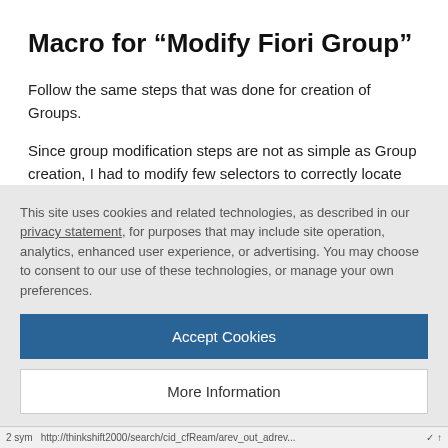Macro for “Modify Fiori Group”
Follow the same steps that was done for creation of Groups.
Since group modification steps are not as simple as Group creation, I had to modify few selectors to correctly locate the buttons/tiles.
This site uses cookies and related technologies, as described in our privacy statement, for purposes that may include site operation, analytics, enhanced user experience, or advertising. You may choose to consent to our use of these technologies, or manage your own preferences.
Accept Cookies
More Information
Privacy Policy | Powered by: TrustArc